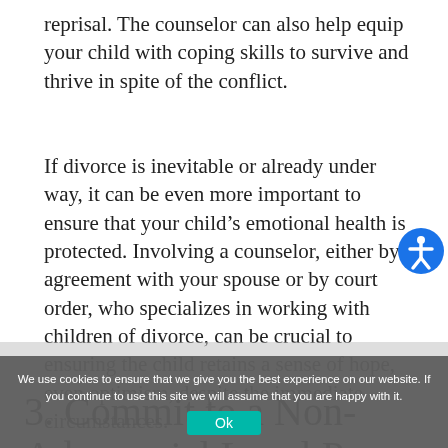reprisal. The counselor can also help equip your child with coping skills to survive and thrive in spite of the conflict.
If divorce is inevitable or already under way, it can be even more important to ensure that your child’s emotional health is protected. Involving a counselor, either by agreement with your spouse or by court order, who specializes in working with children of divorce, can be crucial to ensuring the child retains a sense of hope, even optimism, despite the immediate circumstances.
3. Commit to a Non-Adversarial Legal Process.
We use cookies to ensure that we give you the best experience on our website. If you continue to use this site we will assume that you are happy with it.